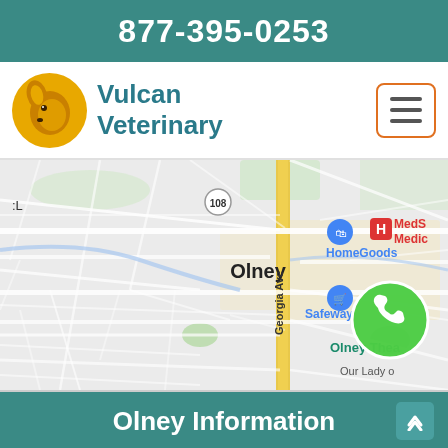877-395-0253
Vulcan Veterinary
[Figure (map): Google Maps screenshot showing Olney, Maryland area with Georgia Ave running vertically, landmarks including HomeGoods, Safeway, MedS Medic (hospital), Olney Thea, Our Lady, and route 108. A green phone button overlay appears in the lower right area of the map.]
Olney Information